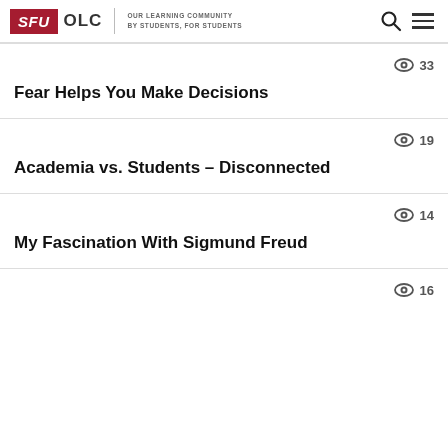SFU OLC | OUR LEARNING COMMUNITY BY STUDENTS, FOR STUDENTS
33
Fear Helps You Make Decisions
19
Academia vs. Students – Disconnected
14
My Fascination With Sigmund Freud
16